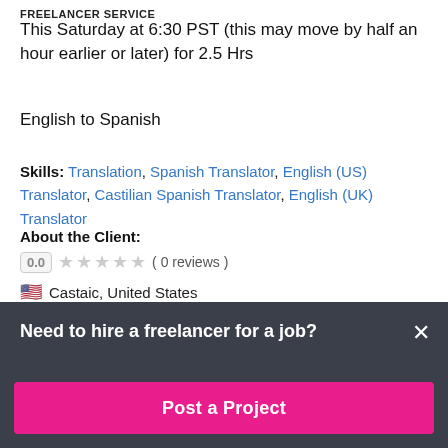FREELANCER SERVICE
This Saturday at 6:30 PST (this may move by half an hour earlier or later) for 2.5 Hrs
English to Spanish
Skills: Translation, Spanish Translator, English (US) Translator, Castilian Spanish Translator, English (UK) Translator
About the Client:
0.0   ★ ★ ★ ★ ★ ( 0 reviews )
🇺🇸 Castaic, United States
Need to hire a freelancer for a job?
Post a Project